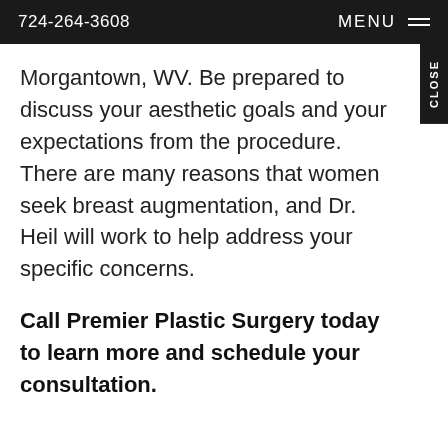724-264-3608    MENU
Morgantown, WV. Be prepared to discuss your aesthetic goals and your expectations from the procedure. There are many reasons that women seek breast augmentation, and Dr. Heil will work to help address your specific concerns.
Call Premier Plastic Surgery today to learn more and schedule your consultation.
CONTACT US    724-264-3608